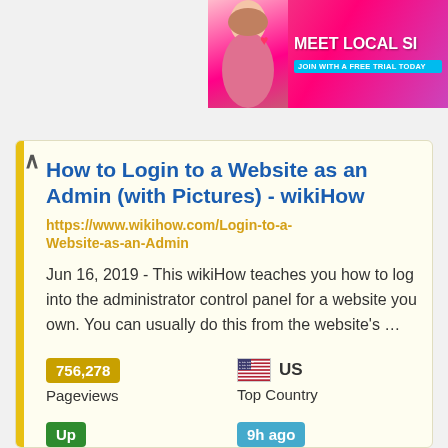[Figure (photo): Advertisement banner in top right corner showing a woman and text MEET LOCAL SI with JOIN WITH A FREE TRIAL TODAY]
How to Login to a Website as an Admin (with Pictures) - wikiHow
https://www.wikihow.com/Login-to-a-Website-as-an-Admin
Jun 16, 2019 - This wikiHow teaches you how to log into the administrator control panel for a website you own. You can usually do this from the website's ...
756,278
Pageviews
US
Top Country
Up
Site Status
9h ago
Last Pinged